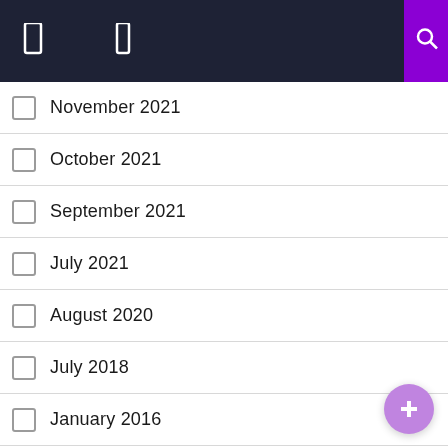Navigation header with icons
November 2021
October 2021
September 2021
July 2021
August 2020
July 2018
January 2016
September 2014
February 2009